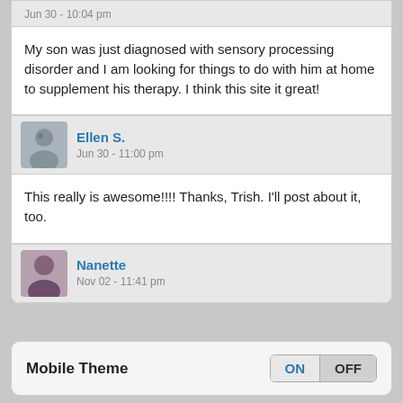Jun 30 - 10:04 pm
My son was just diagnosed with sensory processing disorder and I am looking for things to do with him at home to supplement his therapy. I think this site it great!
Ellen S. — Jun 30 - 11:00 pm
This really is awesome!!!! Thanks, Trish. I'll post about it, too.
Nanette — Nov 02 - 11:41 pm
This sounds like something I could really use. Heading over to check it out now. Thanks.
Mobile Theme — ON / OFF